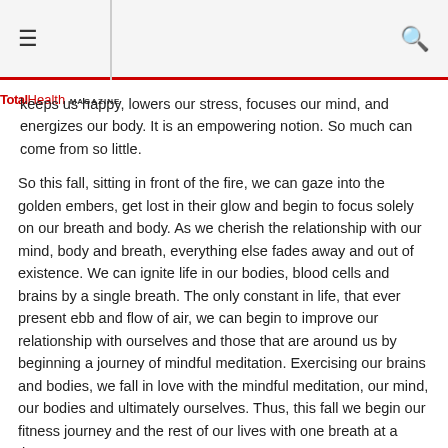≡  🔍
keeps us happy, lowers our stress, focuses our mind, and energizes our body. It is an empowering notion. So much can come from so little.
So this fall, sitting in front of the fire, we can gaze into the golden embers, get lost in their glow and begin to focus solely on our breath and body. As we cherish the relationship with our mind, body and breath, everything else fades away and out of existence. We can ignite life in our bodies, blood cells and brains by a single breath. The only constant in life, that ever present ebb and flow of air, we can begin to improve our relationship with ourselves and those that are around us by beginning a journey of mindful meditation. Exercising our brains and bodies, we fall in love with the mindful meditation, our mind, our bodies and ultimately ourselves. Thus, this fall we begin our fitness journey and the rest of our lives with one breath at a time.